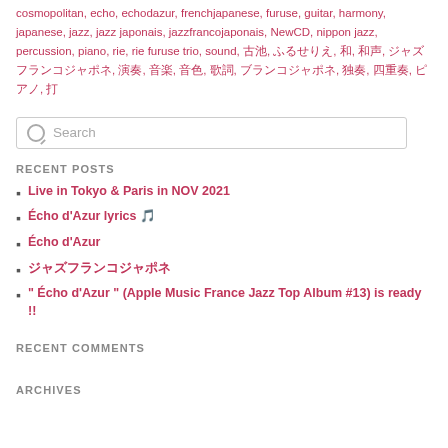cosmopolitan, echo, echodazur, frenchjapanese, furuse, guitar, harmony, japanese, jazz, jazz japonais, jazzfrancojaponais, NewCD, nippon jazz, percussion, piano, rie, rie furuse trio, sound, 古池, ふるせりえ, 和, 和声, ジャズフランコジャポネ, 演奏, 音楽, 音色, 歌詞, ブランコジャポネ, 独奏, 四重奏, ピアノ, 打
[Figure (other): Search input box with magnifying glass icon and placeholder text 'Search']
RECENT POSTS
Live in Tokyo & Paris in NOV 2021
Écho d'Azur lyrics 🎵
Écho d'Azur
ジャズフランコジャポネ
" Écho d'Azur " (Apple Music France Jazz Top Album #13) is ready !!
RECENT COMMENTS
ARCHIVES